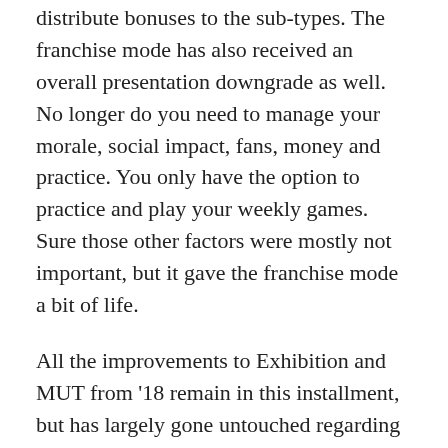distribute bonuses to the sub-types. The franchise mode has also received an overall presentation downgrade as well. No longer do you need to manage your morale, social impact, fans, money and practice. You only have the option to practice and play your weekly games. Sure those other factors were mostly not important, but it gave the franchise mode a bit of life.
All the improvements to Exhibition and MUT from '18 remain in this installment, but has largely gone untouched regarding improvements. The contract renewal has been removed, which is a nice quality of life improvement, but that's about it. You'll also be able to play against the AI in the squad challenge mode, which is good for those whom don't like to play online.
Like most installments, the one thing you can always count on with Madden is great visuals. The presentation